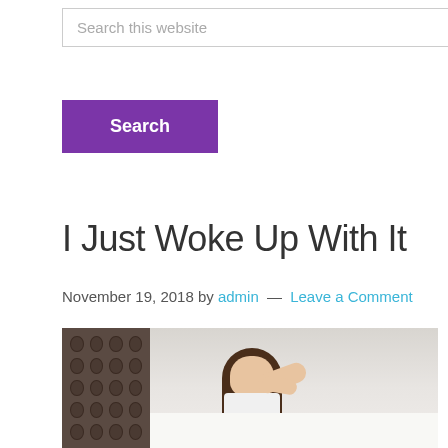Search this website
Search
I Just Woke Up With It
November 19, 2018 by admin — Leave a Comment
[Figure (photo): Young woman sitting up in bed, wincing in pain, holding the back of her neck with one hand and her lower back with the other. She has long dark hair and is wearing a white sleeveless top. A dark tufted headboard is visible behind her.]